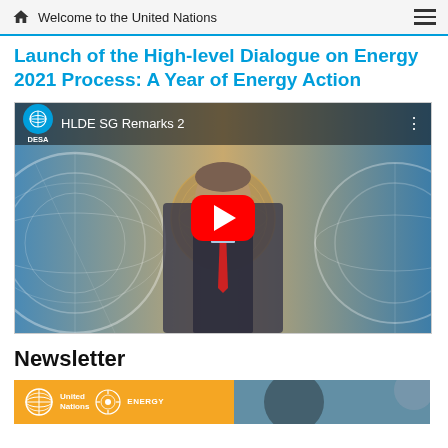Welcome to the United Nations
Launch of the High-level Dialogue on Energy 2021 Process: A Year of Energy Action
[Figure (screenshot): YouTube video thumbnail showing HLDE SG Remarks 2 — a man in a suit with red tie speaking in front of UN emblem backdrop, with DESA logo top-left and YouTube play button overlay]
Newsletter
[Figure (screenshot): Newsletter banner with United Nations Energy logo on amber/gold background and a partial image on the right]